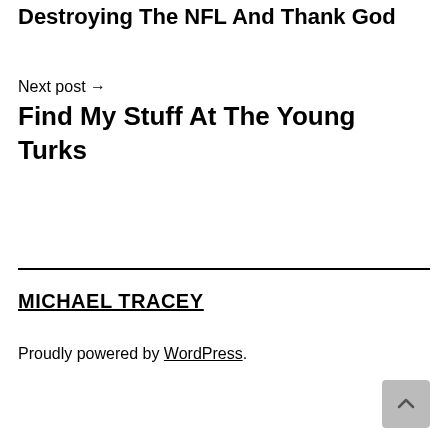Destroying The NFL And Thank God
Next post → Find My Stuff At The Young Turks
MICHAEL TRACEY
Proudly powered by WordPress.